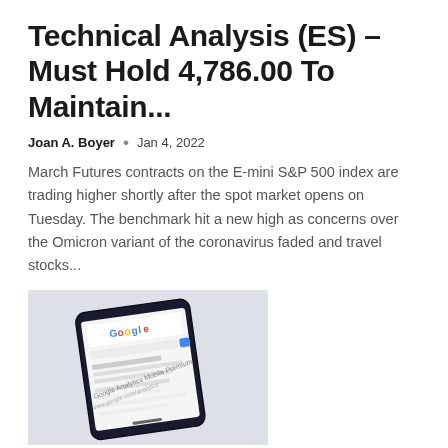Technical Analysis (ES) – Must Hold 4,786.00 To Maintain...
Joan A. Boyer  •  Jan 4, 2022
March Futures contracts on the E-mini S&P 500 index are trading higher shortly after the spot market opens on Tuesday. The benchmark hit a new high as concerns over the Omicron variant of the coronavirus faded and travel stocks...
[Figure (photo): A smartphone displaying a Google Analytics search page, shown at an angle on a light background.]
SEO Updates For 2022 Plans: What To Expect And What To